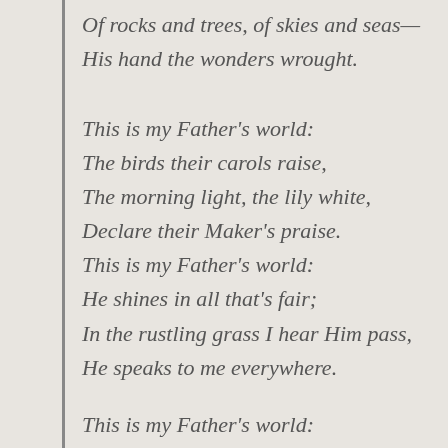Of rocks and trees, of skies and seas—
His hand the wonders wrought.
This is my Father's world:
The birds their carols raise,
The morning light, the lily white,
Declare their Maker's praise.
This is my Father's world:
He shines in all that's fair;
In the rustling grass I hear Him pass,
He speaks to me everywhere.
This is my Father's world: